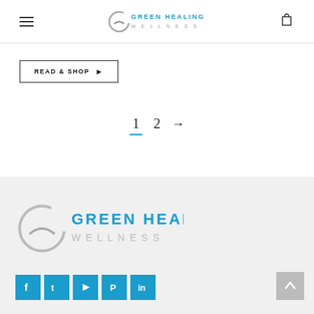Green Healing Wellness — Navigation header with hamburger menu, logo, and cart icon
READ & SHOP ▶
1  2  →
[Figure (logo): Green Healing Wellness logo — large version in footer, grey C-shape with leaf icon, teal and grey lettering]
[Figure (infographic): Social media icons: Facebook, Twitter, YouTube, Pinterest, LinkedIn — blue squares]
[Figure (other): Back to top button — grey square with upward arrow]